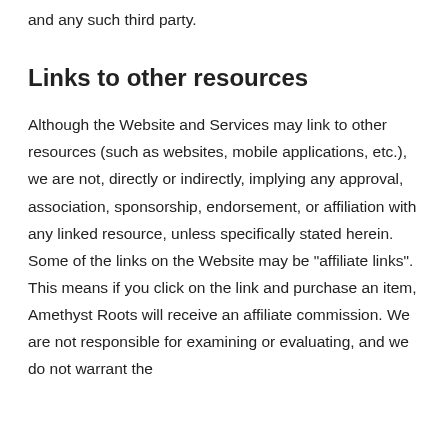and any such third party.
Links to other resources
Although the Website and Services may link to other resources (such as websites, mobile applications, etc.), we are not, directly or indirectly, implying any approval, association, sponsorship, endorsement, or affiliation with any linked resource, unless specifically stated herein. Some of the links on the Website may be “affiliate links”. This means if you click on the link and purchase an item, Amethyst Roots will receive an affiliate commission. We are not responsible for examining or evaluating, and we do not warrant the